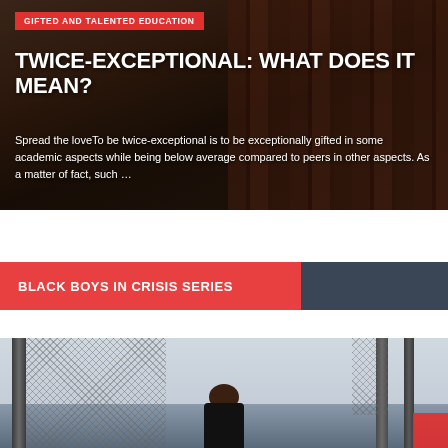[Figure (photo): Background photo of stacked dark red/maroon books with a silhouetted figure, used as hero image for article card]
GIFTED AND TALENTED EDUCATION
TWICE-EXCEPTIONAL: WHAT DOES IT MEAN?
Spread the loveTo be twice-exceptional is to be exceptionally gifted in some academic aspects while being below average compared to peers in other aspects. As a matter of fact, such …
BLACK BOYS IN CRISIS SERIES
[Figure (photo): Outdoor photo of a young Black boy wearing a blue striped beanie hat, standing near a chain-link fence with bare trees in the background]